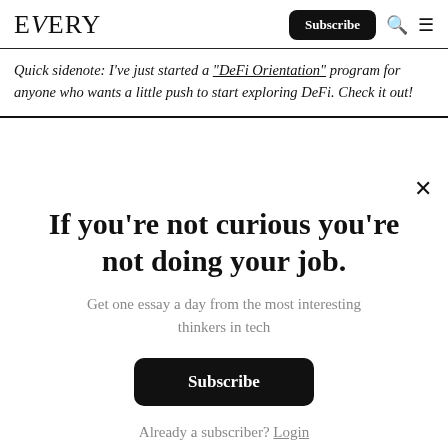EVERY | Subscribe
Quick sidenote: I've just started a "DeFi Orientation" program for anyone who wants a little push to start exploring DeFi. Check it out!
If you're not curious you're not doing your job.
Get one essay a day from the most interesting thinkers in tech
Subscribe
Already a subscriber? Login